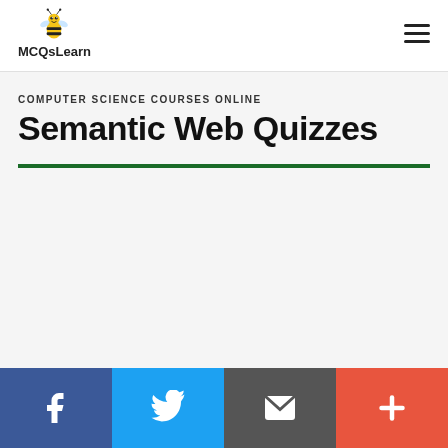MCQsLearn
COMPUTER SCIENCE COURSES ONLINE
Semantic Web Quizzes
[Figure (other): Social sharing bar with Facebook, Twitter, Email, and More (+) buttons]